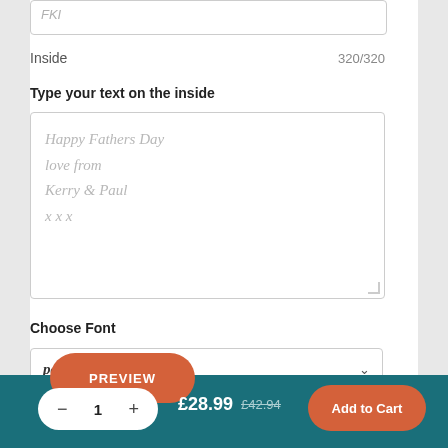FKI
Inside    320/320
Type your text on the inside
Happy Fathers Day
love from
Kerry & Paul
x x x
Choose Font
palatino bold italic
PREVIEW
– 1 +   £28.99  £42.94   Add to Cart